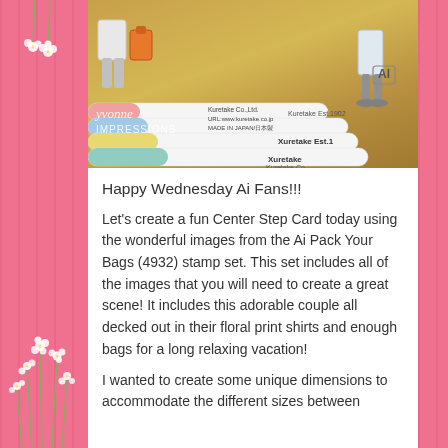[Figure (photo): Photo of Kuretake brush markers with pastel tips (pink, blue, yellow, teal) laid on a golden/brown background, with partially visible anime-style character cutouts at the top. The markers display Kuretake branding. A watermark reading 'yvonne IMPRESSIONS' is visible at the bottom left.]
Happy Wednesday Ai Fans!!!
Let's create a fun Center Step Card today using the wonderful images from the Ai Pack Your Bags (4932) stamp set. This set includes all of the images that you will need to create a great scene! It includes this adorable couple all decked out in their floral print shirts and enough bags for a long relaxing vacation!
I wanted to create some unique dimensions to accommodate the different sizes between